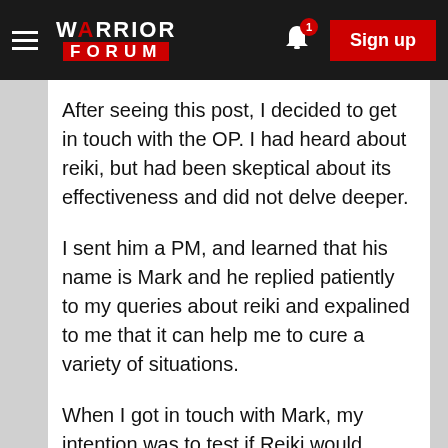WARRIOR FORUM — Sign up
After seeing this post, I decided to get in touch with the OP. I had heard about reiki, but had been skeptical about its effectiveness and did not delve deeper.
I sent him a PM, and learned that his name is Mark and he replied patiently to my queries about reiki and expalined to me that it can help me to cure a variety of situations.
When I got in touch with Mark, my intention was to test if Reiki would